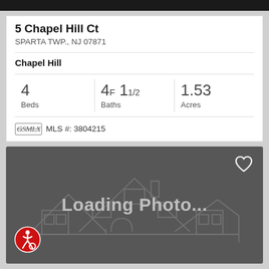5 Chapel Hill Ct
SPARTA TWP., NJ 07871
Chapel Hill
4 Beds  4F 11/2 Baths  1.53 Acres
GSMLX MLS #: 3804215
[Figure (photo): Loading Photo... placeholder with outlined house illustration, heart icon in top right, accessibility icon in bottom left]